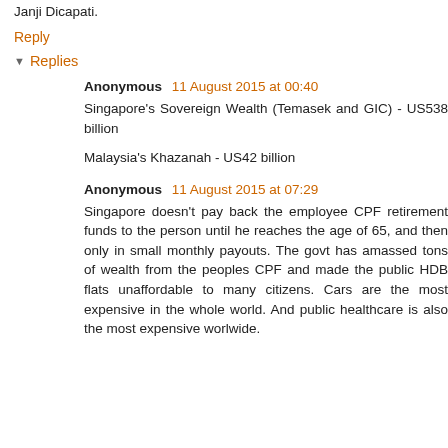Janji Dicapati.
Reply
Replies
Anonymous  11 August 2015 at 00:40
Singapore's Sovereign Wealth (Teasek and GIC) - US538 billion

Malaysia's Khazanah - US42 billion
Anonymous  11 August 2015 at 07:29
Singapore doesn't pay back the employee CPF retirement funds to the person until he reaches the age of 65, and then only in small monthly payouts. The govt has amassed tons of wealth from the peoples CPF and made the public HDB flats unaffordable to many citizens. Cars are the most expensive in the whole world. And public healthcare is also the most expensive worlwide.